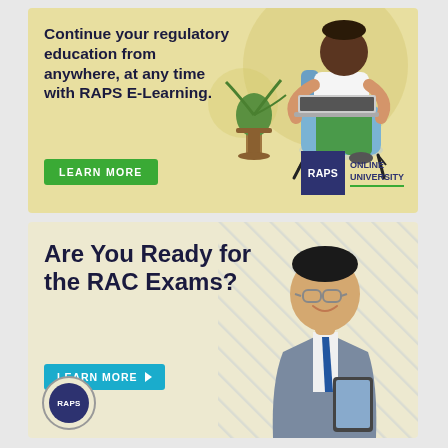[Figure (infographic): Top advertisement for RAPS E-Learning. Yellow/beige background with decorative circle. Illustration of a person (Black man with beard) sitting in a blue chair working on a laptop, with a green plant. Text reads 'Continue your regulatory education from anywhere, at any time with RAPS E-Learning.' Green 'LEARN MORE' button. RAPS Online University logo bottom right.]
[Figure (infographic): Bottom advertisement for RAC Exams. Beige/cream background with diagonal blue stripe pattern on right side. Photo of smiling Asian man in suit with glasses and blue tie holding a tablet. Text reads 'Are You Ready for the RAC Exams?' Teal 'LEARN MORE' button with arrow. RAPS badge logo bottom left.]